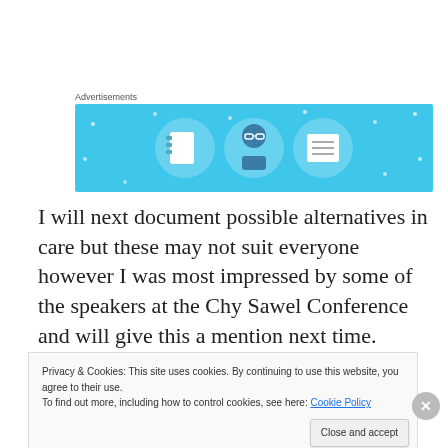Advertisements
[Figure (illustration): Advertisement banner with light blue background showing three circular icons: a notebook, a person with glasses, and a list/document icon, with sparkle dots scattered around.]
I will next document possible alternatives in care but these may not suit everyone however I was most impressed by some of the speakers at the Chy Sawel Conference and will give this a mention next time.
Privacy & Cookies: This site uses cookies. By continuing to use this website, you agree to their use.
To find out more, including how to control cookies, see here: Cookie Policy